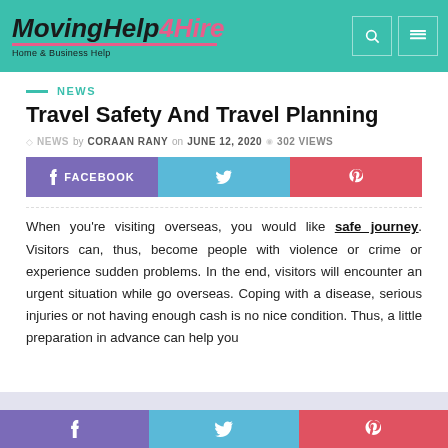MovingHelp4Hire Home & Business Help
NEWS
Travel Safety And Travel Planning
NEWS by CORAAN RANY on JUNE 12, 2020 · 302 VIEWS
[Figure (other): Social share buttons: FACEBOOK, Twitter, Pinterest]
When you're visiting overseas, you would like safe journey. Visitors can, thus, become people with violence or crime or experience sudden problems. In the end, visitors will encounter an urgent situation while go overseas. Coping with a disease, serious injuries or not having enough cash is no nice condition. Thus, a little preparation in advance can help you